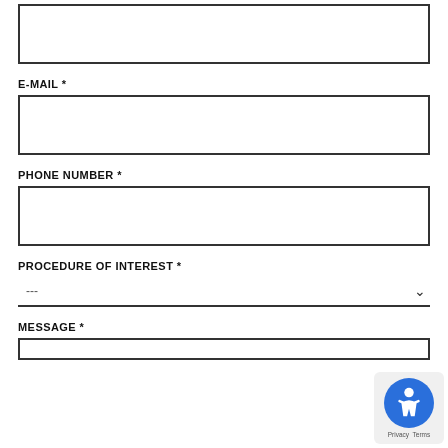[Figure (other): Text input box (top, partially visible) - form field]
E-MAIL *
[Figure (other): Email text input box - empty form field]
PHONE NUMBER *
[Figure (other): Phone number text input box - empty form field]
PROCEDURE OF INTEREST *
[Figure (other): Dropdown selector with '---' placeholder and chevron arrow]
MESSAGE *
[Figure (other): Accessibility icon badge (blue circle with person icon) and Privacy/Terms label]